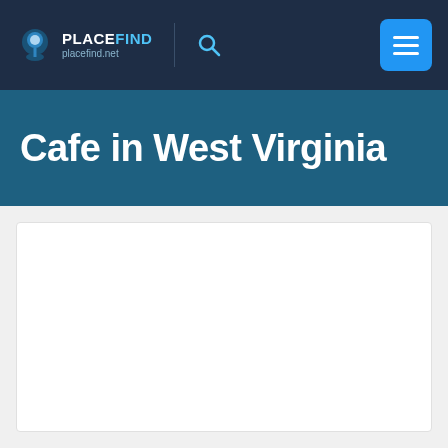PLACEFIND placefind.net
Cafe in West Virginia
[Figure (other): White content box placeholder area]